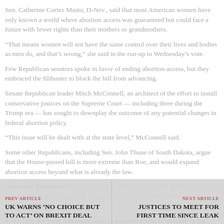Sen. Catherine Cortez Masto, D-Nev., said that most American women have only known a world where abortion access was guaranteed but could face a future with fewer rights than their mothers or grandmothers.
“That means women will not have the same control over their lives and bodies as men do, and that’s wrong,” she said in the run-up to Wednesday’s vote.
Few Republican senators spoke in favor of ending abortion access, but they embraced the filibuster to block the bill from advancing.
Senate Republican leader Mitch McConnell, an architect of the effort to install conservative justices on the Supreme Court — including three during the Trump era — has sought to downplay the outcome of any potential changes in federal abortion policy.
“This issue will be dealt with at the state level,” McConnell said.
Some other Republicans, including Sen. John Thune of South Dakota, argue that the House-passed bill is more extreme than Roe, and would expand abortion access beyond what is already the law.
About half the states already have approved laws that would further restrict or ban abortions, including some trigger laws that would take effect once the court rules.
Polls show that most Americans want to preserve access to abortion in the earlier stages of pregnancy, but views are more nuanced and are not always sharply divided along party lines.
PREV ARTICLE
UK WARNS ‘NO CHOICE BUT TO ACT’ ON BREXIT DEAL
NEXT ARTICLE
JUSTICES TO MEET FOR FIRST TIME SINCE LEAK